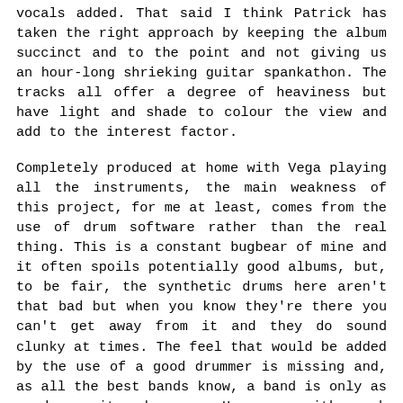vocals added. That said I think Patrick has taken the right approach by keeping the album succinct and to the point and not giving us an hour-long shrieking guitar spankathon. The tracks all offer a degree of heaviness but have light and shade to colour the view and add to the interest factor.

Completely produced at home with Vega playing all the instruments, the main weakness of this project, for me at least, comes from the use of drum software rather than the real thing. This is a constant bugbear of mine and it often spoils potentially good albums, but, to be fair, the synthetic drums here aren't that bad but when you know they're there you can't get away from it and they do sound clunky at times. The feel that would be added by the use of a good drummer is missing and, as all the best bands know, a band is only as good as its drummer. However, with cash anyone can use the real article and a talented session guy but hats off to Vega for producing a generally very nice album, obviously on a budget